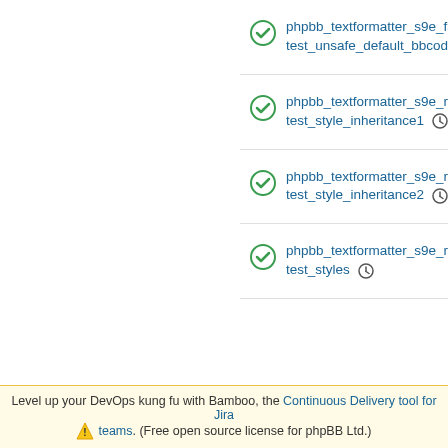phpbb_textformatter_s9e_fa test_unsafe_default_bbcode
phpbb_textformatter_s9e_re test_style_inheritance1
phpbb_textformatter_s9e_re test_style_inheritance2
phpbb_textformatter_s9e_re test_styles
Level up your DevOps kung fu with Bamboo, the Continuous Delivery tool for Jira teams. (Free open source license for phpBB Ltd.)